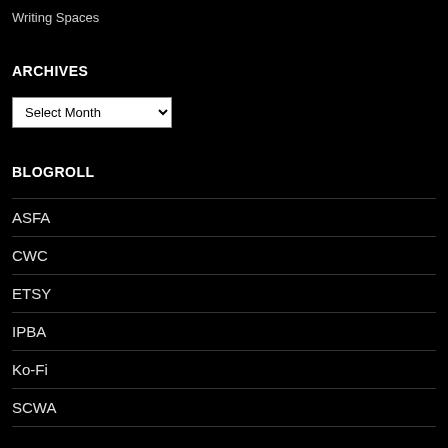Writing Spaces
ARCHIVES
Select Month (dropdown)
BLOGROLL
ASFA
CWC
ETSY
IPBA
Ko-Fi
SCWA